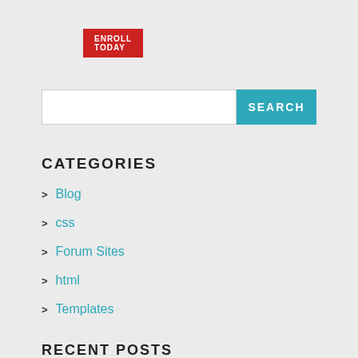ENROLL TODAY
[Figure (screenshot): Search bar with white input field and teal SEARCH button]
CATEGORIES
Blog
css
Forum Sites
html
Templates
RECENT POSTS
Why You Should Use Html5 Templates Nowadays